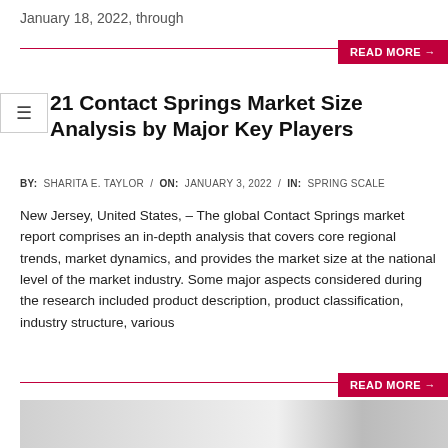January 18, 2022, through
READ MORE →
21 Contact Springs Market Size Analysis by Major Key Players
BY: SHARITA E. TAYLOR / ON: JANUARY 3, 2022 / IN: SPRING SCALE
New Jersey, United States, – The global Contact Springs market report comprises an in-depth analysis that covers core regional trends, market dynamics, and provides the market size at the national level of the market industry. Some major aspects considered during the research included product description, product classification, industry structure, various
READ MORE →
[Figure (photo): Bottom portion of a room/office interior image, partially visible]